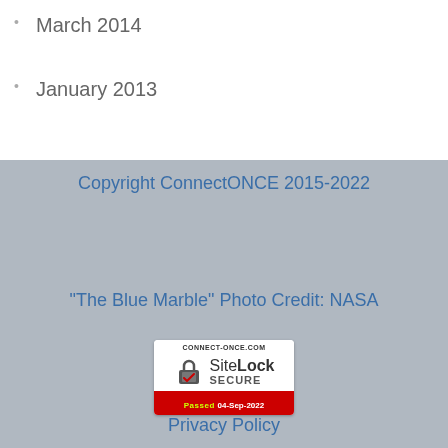March 2014
January 2013
Copyright ConnectONCE 2015-2022
"The Blue Marble" Photo Credit: NASA
[Figure (logo): SiteLock SECURE badge showing CONNECT-ONCE.COM, a padlock icon with checkmark, SiteLock SECURE text, and Passed 04-Sep-2022 in red bar]
Privacy Policy